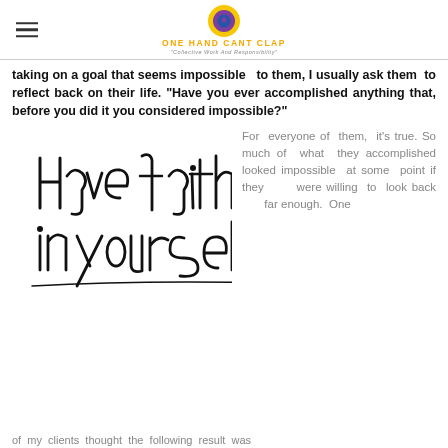ONE HAND CANT CLAP — Collective Work And Responsibility
taking on a goal that seems impossible to them, I usually ask them to reflect back on their life. "Have you ever accomplished anything that, before you did it you considered impossible?"
[Figure (illustration): Handwritten script text reading 'Have faith in yourself.']
For everyone of them, it's true. So much of what they accomplished looked impossible at some point if they were willing to look back far enough. One
of my clients thought the following result was